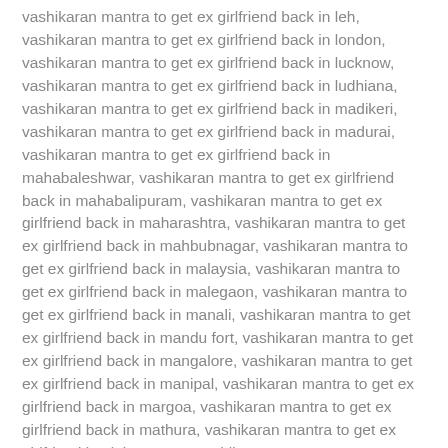vashikaran mantra to get ex girlfriend back in leh, vashikaran mantra to get ex girlfriend back in london, vashikaran mantra to get ex girlfriend back in lucknow, vashikaran mantra to get ex girlfriend back in ludhiana, vashikaran mantra to get ex girlfriend back in madikeri, vashikaran mantra to get ex girlfriend back in madurai, vashikaran mantra to get ex girlfriend back in mahabaleshwar, vashikaran mantra to get ex girlfriend back in mahabalipuram, vashikaran mantra to get ex girlfriend back in maharashtra, vashikaran mantra to get ex girlfriend back in mahbubnagar, vashikaran mantra to get ex girlfriend back in malaysia, vashikaran mantra to get ex girlfriend back in malegaon, vashikaran mantra to get ex girlfriend back in manali, vashikaran mantra to get ex girlfriend back in mandu fort, vashikaran mantra to get ex girlfriend back in mangalore, vashikaran mantra to get ex girlfriend back in manipal, vashikaran mantra to get ex girlfriend back in margoa, vashikaran mantra to get ex girlfriend back in mathura, vashikaran mantra to get ex girlfriend back in meerut, vashikaran mantra to get ex girlfriend back in melbourne, vashikaran mantra to get ex girlfriend back in